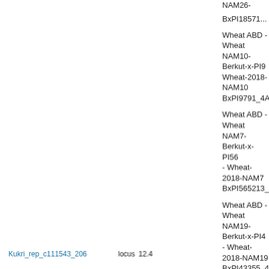NAM26-BxPI185715
Wheat ABD - Wheat NAM10-Berkut-x-PI9791 - Wheat-2018-NAM10-BxPI9791_4A
Wheat ABD - Wheat NAM7-Berkut-x-PI565213 - Wheat-2018-NAM7-BxPI565213_4A
Wheat ABD - Wheat NAM19-Berkut-x-PI43355 - Wheat-2018-NAM19-BxPI43355_4A
Wheat ABD - Wheat NAM6-Berkut-x-PI470817 - Wheat-2018-NAM6-BxPI470817_4A
Wheat ABD - Wheat NAM30-Berkut-x-PI278297 - Wheat-2018-NAM30-BxPI278297
Wheat ABD - Wheat NAM20-Berkut-x-PI94567 - Wheat-2018-NAM20-BxPI94567_4A
Kukri_rep_c111543_206
locus 12.4
Wheat ABD - Wheat